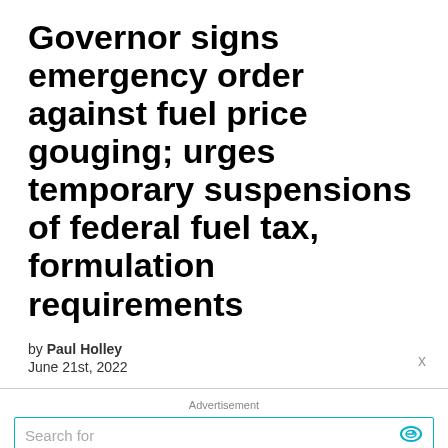Governor signs emergency order against fuel price gouging; urges temporary suspensions of federal fuel tax, formulation requirements
by Paul Holley
June 21st, 2022
[Figure (screenshot): Advertisement panel with search bar and list items: 1. BEST HIGH RETURN INVESTMENTS, 2. WATER DAMAGED WALL REPAIR, and Ad | Business Focus footer]